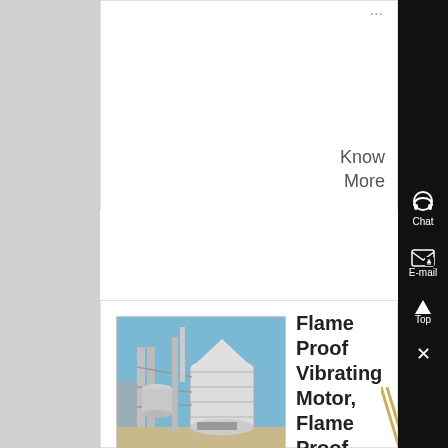Know More
[Figure (photo): Industrial flame proof vibrating motor installation with silos, pipes and scaffolding structure against blue sky]
Flame Proof Vibrating Motor, Flame Proof Vibrating Motor，
Flame Proof Vibrating Motor, Wholesale Various High Quality Flame Proof Vibrating